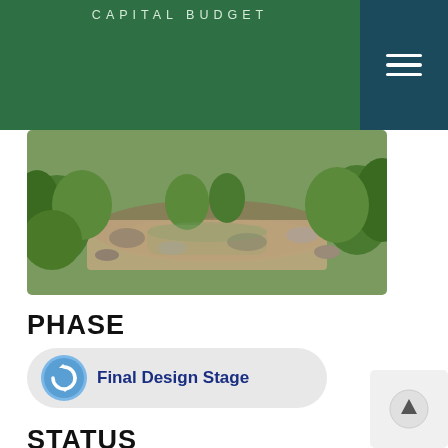CAPITAL BUDGET
[Figure (photo): Nature photo showing a creek or stream with rocks, gravel, and green vegetation along the banks]
PHASE
Final Design Stage
STATUS
Pending Closeout